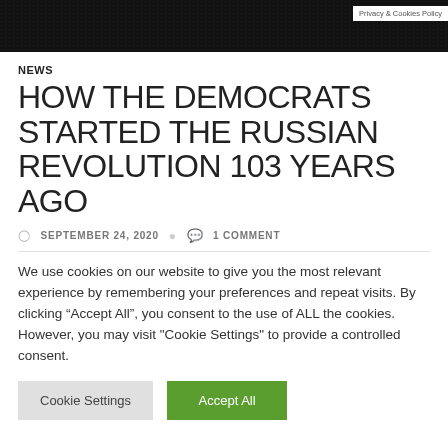[Figure (photo): Dark header image background with text overlay area]
Privacy & Cookies Policy
NEWS
HOW THE DEMOCRATS STARTED THE RUSSIAN REVOLUTION 103 YEARS AGO
SEPTEMBER 24, 2020   1 COMMENT
We use cookies on our website to give you the most relevant experience by remembering your preferences and repeat visits. By clicking “Accept All”, you consent to the use of ALL the cookies. However, you may visit "Cookie Settings" to provide a controlled consent.
Cookie Settings   Accept All